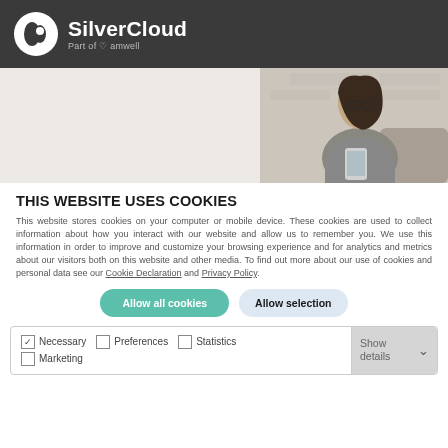SilverCloud — Part of amwell
[Figure (photo): Hero banner image showing a woman with glasses looking at a mobile phone, seated on a couch against a light background.]
THIS WEBSITE USES COOKIES
This website stores cookies on your computer or mobile device. These cookies are used to collect information about how you interact with our website and allow us to remember you. We use this information in order to improve and customize your browsing experience and for analytics and metrics about our visitors both on this website and other media. To find out more about our use of cookies and personal data see our Cookie Declaration and Privacy Policy.
Allow all cookies | Allow selection
| Necessary | Preferences | Statistics | Marketing | Show details |
| --- | --- | --- | --- | --- |
| ☑ Necessary | ☐ Preferences | ☐ Statistics | ☐ Marketing | Show details ∨ |